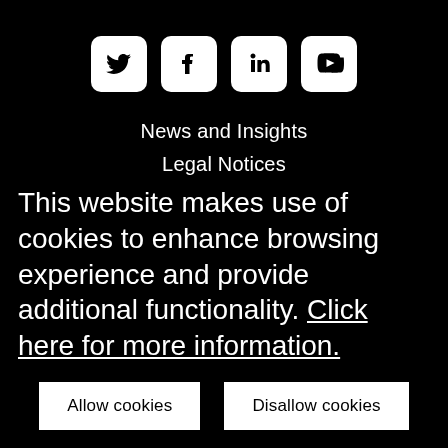[Figure (other): Row of four social media icon buttons: Twitter (bird), Facebook (f), LinkedIn (in), YouTube (play button) — white rounded-square icons on black background]
News and Insights
Legal Notices
Modern Day Slavery Statement
Privacy Policy
Terms of Use
This website makes use of cookies to enhance browsing experience and provide additional functionality. Click here for more information.
Allow cookies
Disallow cookies